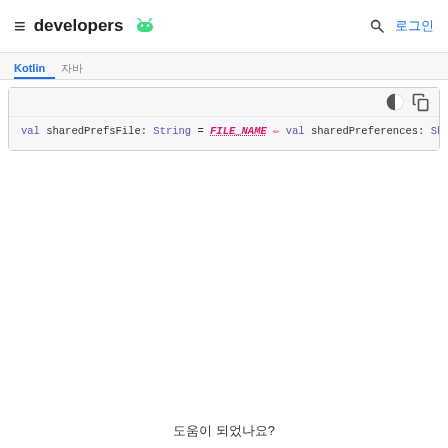developers [Android logo] | 로그인
[Figure (screenshot): Android Developers website header with hamburger menu, 'developers' brand text, Android robot icon, search icon, and Korean login text '로그인']
Kotlin  자바 (tab bar)
[Figure (screenshot): Code block with dark/light mode and copy buttons in toolbar]
val sharedPrefsFile: String = FILE_NAME
val sharedPreferences: SharedPreferences = Encryp
        sharedPrefsFile,
        mainKeyAlias,
        applicationContext,
        EncryptedSharedPreferences.PrefKeyEncrypt
        EncryptedSharedPreferences.PrefValueEncry
)

with (sharedPreferences.edit()) {
    // Edit the user's shared preferences...
    apply()
}
도움이 되었나요?